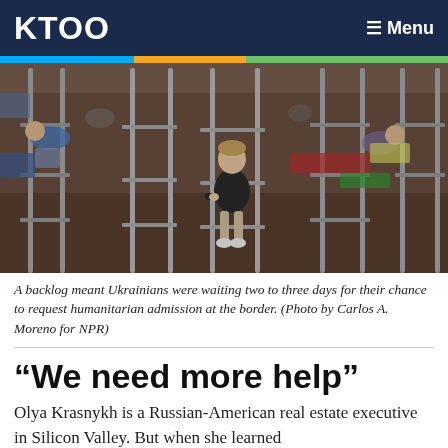KTOO   ≡ Menu
[Figure (photo): Refugees in a shelter with bunk beds; a child sits on a bunk bed surrounded by belongings and other people resting.]
A backlog meant Ukrainians were waiting two to three days for their chance to request humanitarian admission at the border. (Photo by Carlos A. Moreno for NPR)
“We need more help”
Olya Krasnykh is a Russian-American real estate executive in Silicon Valley. But when she learned